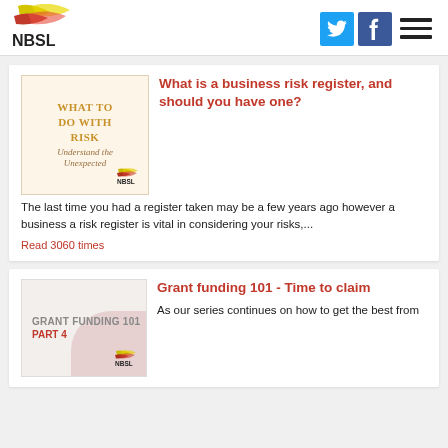NBSL
[Figure (logo): NBSL logo with yellow and red swoosh graphic above NBSL text]
[Figure (illustration): Social media icons: Twitter (blue bird), Facebook (blue f), and hamburger menu icon]
[Figure (illustration): Thumbnail image: 'WHAT TO DO WITH RISK - Understand the Unexpected' with NBSL logo, on cream background]
What is a business risk register, and should you have one?
The last time you had a register taken may be a few years ago however a business a risk register is vital in considering your risks,...
Read 3060 times
[Figure (illustration): Thumbnail image: 'GRANT FUNDING 101 PART 4' in grey and red text on light background with decorative shape and NBSL logo]
Grant funding 101 - Time to claim
As our series continues on how to get the best from